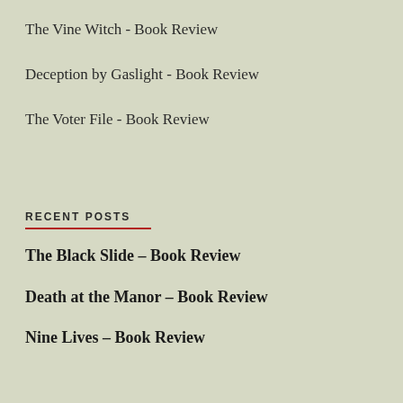The Vine Witch - Book Review
Deception by Gaslight - Book Review
The Voter File - Book Review
RECENT POSTS
The Black Slide – Book Review
Death at the Manor – Book Review
Nine Lives – Book Review